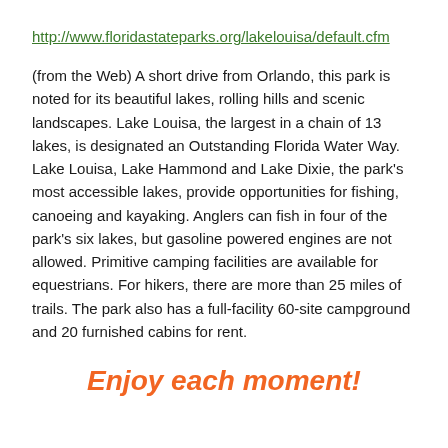http://www.floridastateparks.org/lakelouisa/default.cfm
(from the Web) A short drive from Orlando, this park is noted for its beautiful lakes, rolling hills and scenic landscapes. Lake Louisa, the largest in a chain of 13 lakes, is designated an Outstanding Florida Water Way. Lake Louisa, Lake Hammond and Lake Dixie, the park's most accessible lakes, provide opportunities for fishing, canoeing and kayaking. Anglers can fish in four of the park's six lakes, but gasoline powered engines are not allowed. Primitive camping facilities are available for equestrians. For hikers, there are more than 25 miles of trails. The park also has a full-facility 60-site campground and 20 furnished cabins for rent.
Enjoy each moment!